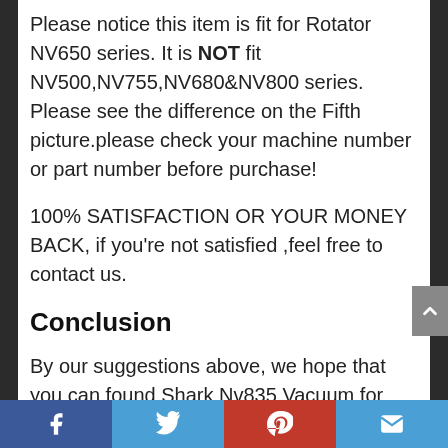Please notice this item is fit for Rotator NV650 series. It is NOT fit NV500,NV755,NV680&NV800 series. Please see the difference on the Fifth picture.please check your machine number or part number before purchase!
100% SATISFACTION OR YOUR MONEY BACK, if you're not satisfied ,feel free to contact us.
Conclusion
By our suggestions above, we hope that you can found Shark Nv835 Vacuum for you.Please don't forget to share your
Facebook Twitter Pinterest Email